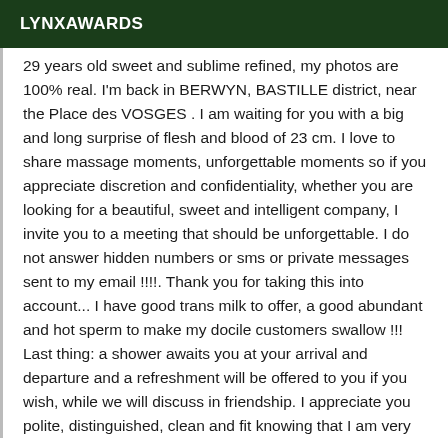LYNXAWARDS
29 years old sweet and sublime refined, my photos are 100% real. I'm back in BERWYN, BASTILLE district, near the Place des VOSGES . I am waiting for you with a big and long surprise of flesh and blood of 23 cm. I love to share massage moments, unforgettable moments so if you appreciate discretion and confidentiality, whether you are looking for a beautiful, sweet and intelligent company, I invite you to a meeting that should be unforgettable. I do not answer hidden numbers or sms or private messages sent to my email !!!!. Thank you for taking this into account... I have good trans milk to offer, a good abundant and hot sperm to make my docile customers swallow !!! Last thing: a shower awaits you at your arrival and departure and a refreshment will be offered to you if you wish, while we will discuss in friendship. I appreciate you polite, distinguished, clean and fit knowing that I am very